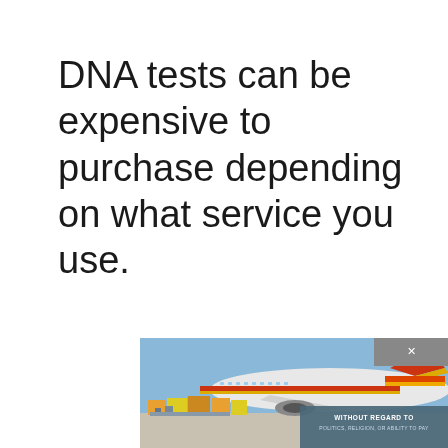DNA tests can be expensive to purchase depending on what service you use.
[Figure (photo): Advertisement banner at bottom of page showing an airplane being loaded with cargo, with red and yellow tail livery, alongside a dark overlay reading 'WITHOUT REGARD TO POLITICS, RELIGION, OR ABILITY TO PAY']